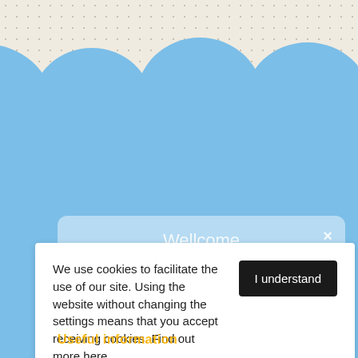[Figure (illustration): Decorative blue cloud shapes on a beige dotted background, serving as the page header/background decoration]
Wellcome
It looks like you are visiting us from: United States.
We have a store available for your country.
For customers
About us
Reviews
We use cookies to facilitate the use of our site. Using the website without changing the settings means that you accept receiving cookies. Find out more here
I understand
Useful information